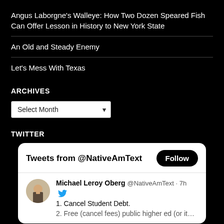Angus Laborgne's Walleye: How Two Dozen Speared Fish Can Offer Lesson in History to New York State
An Old and Steady Enemy
Let’s Mess With Texas
ARCHIVES
Select Month
TWITTER
[Figure (screenshot): Twitter widget showing 'Tweets from @NativeAmText' with a Follow button, and a tweet by Michael Leroy Oberg @NativeAmText · 7h listing '1. Cancel Student Debt.' and a partially visible second item.]